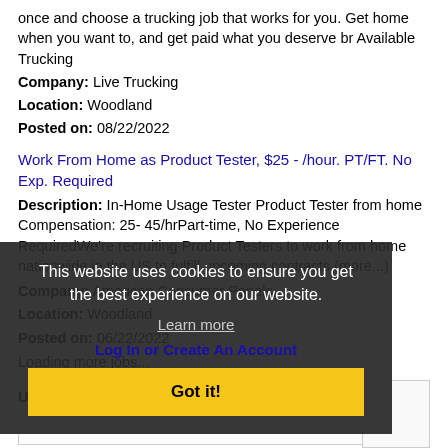once and choose a trucking job that works for you. Get home when you want to, and get paid what you deserve br Available Trucking
Company: Live Trucking
Location: Woodland
Posted on: 08/22/2022
Work From Home as Product Tester, $25 - /hour. PT/FT. No Exp. Required
Description: In-Home Usage Tester Product Tester from home Compensation: 25- 45/hrPart-time, No Experience RequiredWe're recruiting Product Testers to work from home nationwide in the US to fulfill upcoming contracts (more...)
Company: American Consumer Panels
Location: Woodland
Posted on: 06/22/2022
Loading more jobs...
This website uses cookies to ensure you get the best experience on our website.
Learn more
Log In or Create An Account
Got it!
Username: